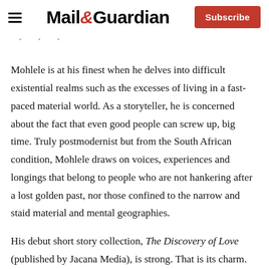Mail&Guardian | Subscribe
Mohlele is at his finest when he delves into difficult existential realms such as the excesses of living in a fast-paced material world. As a storyteller, he is concerned about the fact that even good people can screw up, big time. Truly postmodernist but from the South African condition, Mohlele draws on voices, experiences and longings that belong to people who are not hankering after a lost golden past, nor those confined to the narrow and staid material and mental geographies.
His debut short story collection, The Discovery of Love (published by Jacana Media), is strong. That is its charm. Love is presented through many lives —